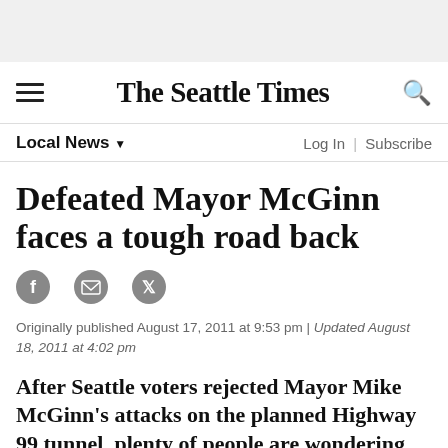The Seattle Times
Local News
Defeated Mayor McGinn faces a tough road back
Originally published August 17, 2011 at 9:53 pm | Updated August 18, 2011 at 4:02 pm
After Seattle voters rejected Mayor Mike McGinn's attacks on the planned Highway 99 tunnel, plenty of people are wondering whether